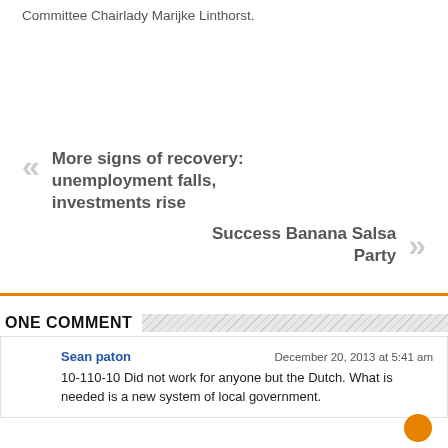Committee Chairlady Marijke Linthorst.
More signs of recovery: unemployment falls, investments rise
Success Banana Salsa Party
ONE COMMENT
Sean paton
December 20, 2013 at 5:41 am
10-110-10 Did not work for anyone but the Dutch. What is needed is a new system of local government.